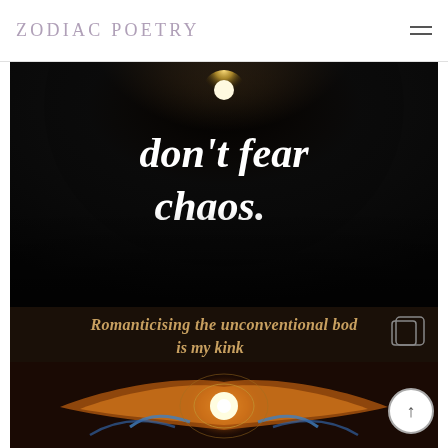ZODIAC POETRY
[Figure (photo): Dark atmospheric image with gothic blackletter text reading 'don't fear chaos.' centered on a dark swirling background with a glowing light source at center-top]
[Figure (photo): Partially visible image with gothic/blackletter text reading 'Romanticising the unconventional bod is my kink' above a colorful symmetrical digital art image featuring ornate orange and gold patterns with a bright central light source]